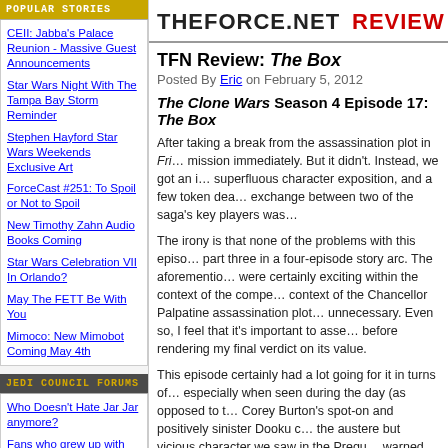POPULAR STORIES
CEII: Jabba's Palace Reunion - Massive Guest Announcements
Star Wars Night With The Tampa Bay Storm Reminder
Stephen Hayford Star Wars Weekends Exclusive Art
ForceCast #251: To Spoil or Not to Spoil
New Timothy Zahn Audio Books Coming
Star Wars Celebration VII In Orlando?
May The FETT Be With You
Mimoco: New Mimobot Coming May 4th
JEDI COUNCIL FORUMS
Who Doesn't Hate Jar Jar anymore?
Fans who grew up with the OT-Do any of you actually prefer the PT?
Should darth maul have died?
What plotline, character or...
[Figure (logo): THE FORCE.NET REVIEW logo in black and red]
TFN Review: The Box
Posted By Eric on February 5, 2012
The Clone Wars Season 4 Episode 17: The Box
After taking a break from the assassination plot in Fri... mission immediately. But it didn't. Instead, we got an i... superfluous character exposition, and a few token dea... exchange between two of the saga's key players was...
The irony is that none of the problems with this episo... part three in a four-episode story arc. The aforementio... were certainly exciting within the context of the compe... context of the Chancellor Palpatine assassination plot... unnecessary. Even so, I feel that it's important to asse... before rendering my final verdict on its value.
This episode certainly had a lot going for it in turns of... especially when seen during the day (as opposed to t... Corey Burton's spot-on and positively sinister Dooku c... the austere but vicious character we saw in the Prequ... warned Eval that he had one more chance to prove hi... could only be described as creepy. During that final ch... ups of him and the fire below the hunters added to the...
In terms of remarkable sights and sounds, "The Box" i... on and off to the corridors opening up in the walls, and... electrified blocks shooting out of the walls, it was a we...